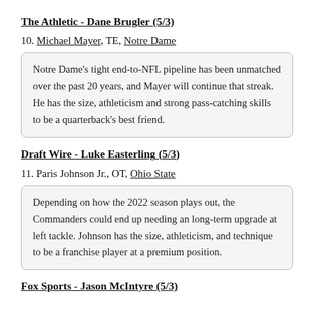The Athletic - Dane Brugler (5/3)
10. Michael Mayer, TE, Notre Dame
Notre Dame’s tight end-to-NFL pipeline has been unmatched over the past 20 years, and Mayer will continue that streak. He has the size, athleticism and strong pass-catching skills to be a quarterback's best friend.
Draft Wire - Luke Easterling (5/3)
11. Paris Johnson Jr., OT, Ohio State
Depending on how the 2022 season plays out, the Commanders could end up needing an long-term upgrade at left tackle. Johnson has the size, athleticism, and technique to be a franchise player at a premium position.
Fox Sports - Jason McIntyre (5/3)